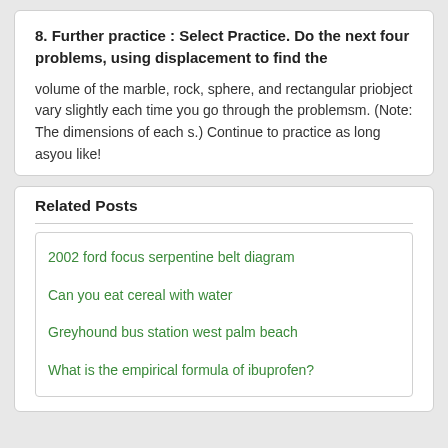8. Further practice : Select Practice. Do the next four problems, using displacement to find the
volume of the marble, rock, sphere, and rectangular priobject vary slightly each time you go through the problemsm. (Note: The dimensions of each s.) Continue to practice as long asyou like!
Related Posts
2002 ford focus serpentine belt diagram
Can you eat cereal with water
Greyhound bus station west palm beach
What is the empirical formula of ibuprofen?